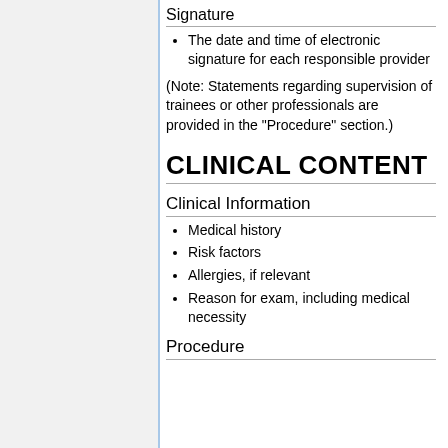Signature
The date and time of electronic signature for each responsible provider
(Note: Statements regarding supervision of trainees or other professionals are provided in the "Procedure" section.)
CLINICAL CONTENT
Clinical Information
Medical history
Risk factors
Allergies, if relevant
Reason for exam, including medical necessity
Procedure